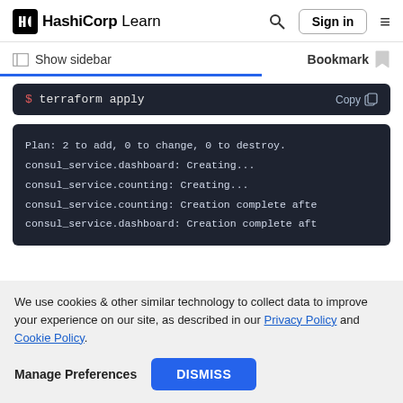HashiCorp Learn  Sign in
Show sidebar  Bookmark
[Figure (screenshot): Terminal block showing command: $ terraform apply with Copy button]
[Figure (screenshot): Terminal output block showing: Plan: 2 to add, 0 to change, 0 to destroy. consul_service.dashboard: Creating... consul_service.counting: Creating... consul_service.counting: Creation complete afte consul_service.dashboard: Creation complete aft]
We use cookies & other similar technology to collect data to improve your experience on our site, as described in our Privacy Policy and Cookie Policy.
Manage Preferences  DISMISS